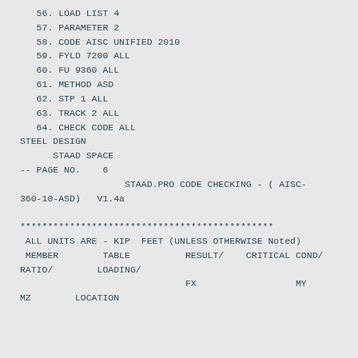56. LOAD LIST 4
57. PARAMETER 2
58. CODE AISC UNIFIED 2010
59. FYLD 7200 ALL
60. FU 9360 ALL
61. METHOD ASD
62. STP 1 ALL
63. TRACK 2 ALL
64. CHECK CODE ALL
STEEL DESIGN
STAAD SPACE
-- PAGE NO.    6
STAAD.PRO CODE CHECKING - ( AISC-360-10-ASD)   V1.4a
**********************************************
ALL UNITS ARE - KIP  FEET (UNLESS OTHERWISE Noted)
MEMBER        TABLE          RESULT/    CRITICAL COND/
RATIO/        LOADING/
                              FX                  MY
MZ        LOCATION